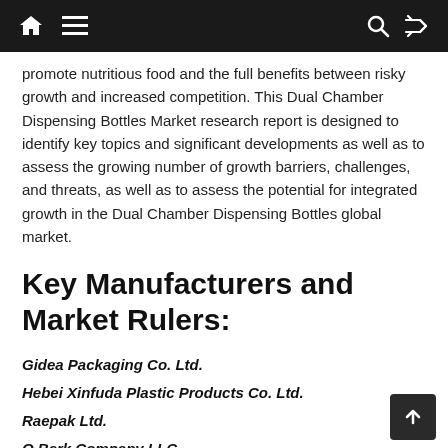Navigation bar with home, menu, search, and shuffle icons
promote nutritious food and the full benefits between risky growth and increased competition. This Dual Chamber Dispensing Bottles Market research report is designed to identify key topics and significant developments as well as to assess the growing number of growth barriers, challenges, and threats, as well as to assess the potential for integrated growth in the Dual Chamber Dispensing Bottles global market.
Key Manufacturers and Market Rulers:
Gidea Packaging Co. Ltd.
Hebei Xinfuda Plastic Products Co. Ltd.
Raepak Ltd.
O.Berk Company LLC
Amigo Laboratories